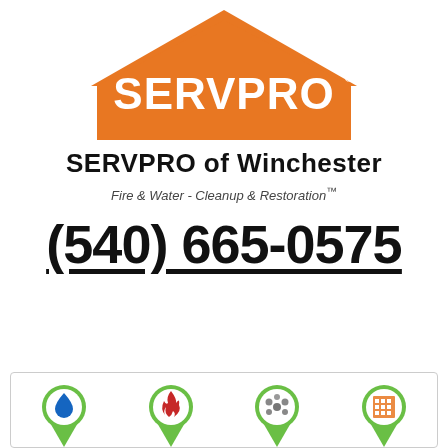[Figure (logo): SERVPRO orange house/roof logo with white SERVPRO text]
SERVPRO of Winchester
Fire & Water - Cleanup & Restoration™
(540) 665-0575
[Figure (infographic): Monitor icon with REQUEST HELP ONLINE text in orange, and green hamburger menu button on the right]
[Figure (infographic): Four service category icons at bottom: WATER (blue droplet), FIRE (red flame), MOLD (spores), COMMERCIAL (building) — each inside a green location-pin marker shape]